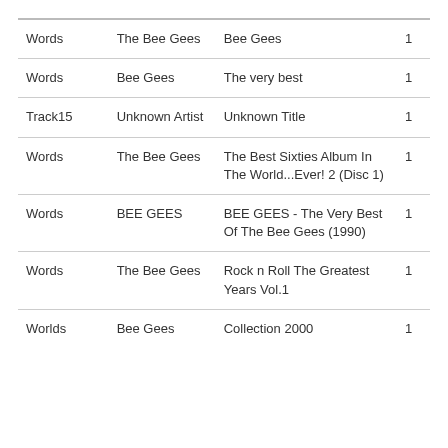| Words | The Bee Gees | Bee Gees | 1 |
| Words | Bee Gees | The very best | 1 |
| Track15 | Unknown Artist | Unknown Title | 1 |
| Words | The Bee Gees | The Best Sixties Album In The World...Ever! 2 (Disc 1) | 1 |
| Words | BEE GEES | BEE GEES - The Very Best Of The Bee Gees (1990) | 1 |
| Words | The Bee Gees | Rock n Roll The Greatest Years Vol.1 | 1 |
| Worlds | Bee Gees | Collection 2000 | 1 |